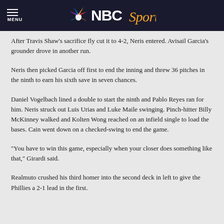NBC Sports
After Travis Shaw’s sacrifice fly cut it to 4-2, Neris entered. Avisail Garcia's grounder drove in another run.
Neris then picked Garcia off first to end the inning and threw 36 pitches in the ninth to earn his sixth save in seven chances.
Daniel Vogelbach lined a double to start the ninth and Pablo Reyes ran for him. Neris struck out Luis Urias and Luke Maile swinging. Pinch-hitter Billy McKinney walked and Kolten Wong reached on an infield single to load the bases. Cain went down on a checked-swing to end the game.
"You have to win this game, especially when your closer does something like that," Girardi said.
Realmuto crushed his third homer into the second deck in left to give the Phillies a 2-1 lead in the first.